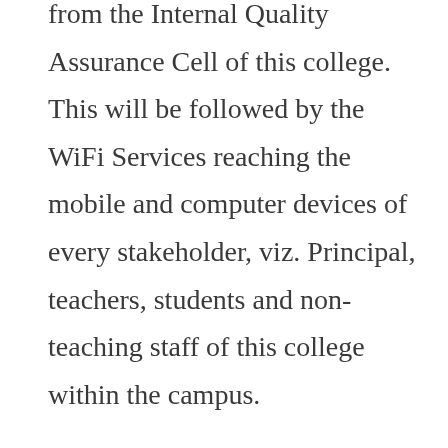from the Internal Quality Assurance Cell of this college. This will be followed by the WiFi Services reaching the mobile and computer devices of every stakeholder, viz. Principal, teachers, students and non-teaching staff of this college within the campus.

Its a great initiative taken by